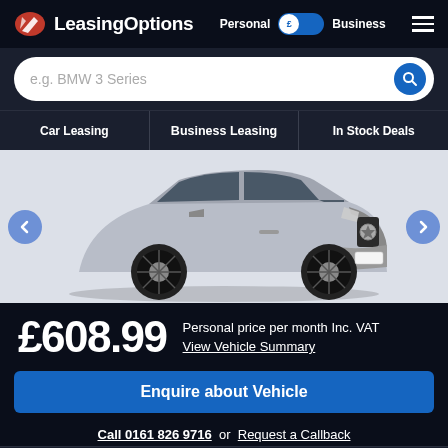LeasingOptions — Personal / Business toggle — hamburger menu
e.g. BMW 3 Series
Car Leasing | Business Leasing | In Stock Deals
[Figure (photo): Silver Mercedes-Benz GLC SUV on white background, with left and right navigation arrows]
£608.99 Personal price per month Inc. VAT View Vehicle Summary
Enquire about Vehicle
Call 0161 826 9716 or Request a Callback
Jump to... Personalise deal... Vehicle included...